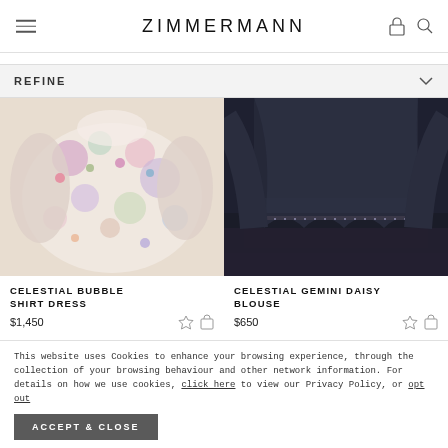ZIMMERMANN
REFINE
[Figure (photo): Close-up of a floral printed blouse/dress with pastel colours featuring illustrated cats and flowers — Celestial Bubble Shirt Dress]
CELESTIAL BUBBLE SHIRT DRESS
$1,450
[Figure (photo): Close-up of a dark navy sheer blouse with embellished hem — Celestial Gemini Daisy Blouse]
CELESTIAL GEMINI DAISY BLOUSE
$650
This website uses Cookies to enhance your browsing experience, through the collection of your browsing behaviour and other network information. For details on how we use cookies, click here to view our Privacy Policy, or opt out
ACCEPT & CLOSE